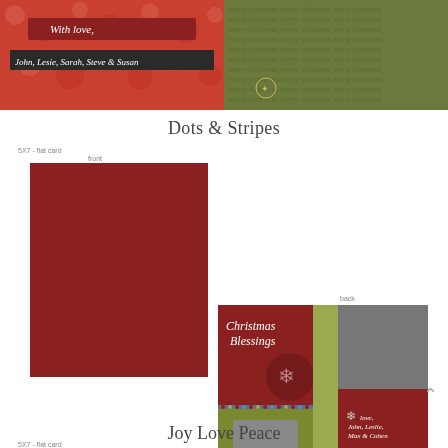[Figure (photo): Top portion showing two Christmas card designs — left card with red polka-dot pattern and green/red text 'With love, John, Lesie, Sarah, Steve & Susan', right card with olive green repeated 'Merry Christmas' text pattern with compass emblem]
Dots & Stripes
5X7 - flat card
front
[Figure (photo): Front of Dots & Stripes Christmas card — red and olive green card with 'Merry Christmas' in script on banner, striped border, black and white photo of two boys, dots border, 'The Smith Family 2008' in italic script on red bottom]
back
[Figure (photo): Back of Dots & Stripes Christmas card — 'Christmas Blessings' in script on dark red left panel, olive green center strip, photos of boys on right, polka dot circle with snowflake, dots stripe border, 'love, John, Leslie, Max & Cohen' text]
Joy Love Peace
5X7 - flat card